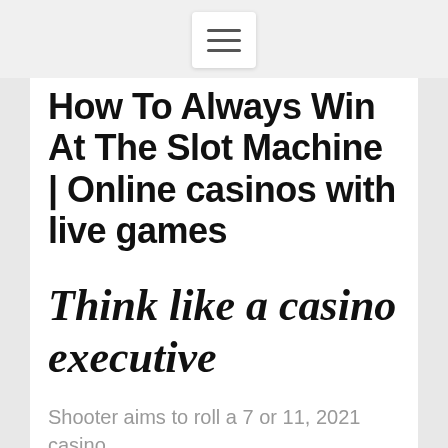[Figure (other): Hamburger menu button icon with three horizontal lines on white rounded rectangle]
How To Always Win At The Slot Machine | Online casinos with live games
Think like a casino executive
Shooter aims to roll a 7 or 11, 2021 casino